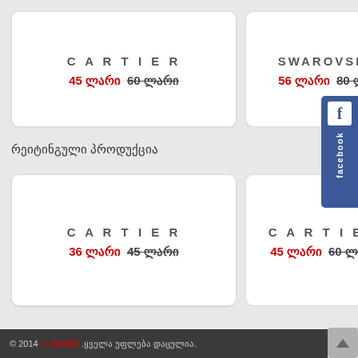[Figure (other): Product card for CARTIER showing price 45 ლარი and old price 60 ლარი]
[Figure (other): Product card for SWAROVSKI showing price 56 ლარი and old price 80 ლარი (partially visible)]
რეიტინგული პროდუქცია
[Figure (other): Product card for CARTIER showing price 36 ლარი and old price 45 ლარი]
[Figure (other): Product card for CARTIER showing price 45 ლარი and old price 60 ლარი (partially visible)]
© 2014 La MODE. ყველა უფლება დაცულია.